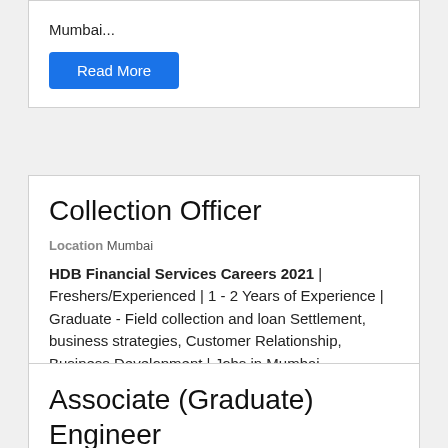Mumbai...
Read More
Collection Officer
Location Mumbai
HDB Financial Services Careers 2021 | Freshers/Experienced | 1 - 2 Years of Experience | Graduate - Field collection and loan Settlement, business strategies, Customer Relationship, Business Development | Jobs in Mumbai...
Read More
Associate (Graduate) Engineer Trainee